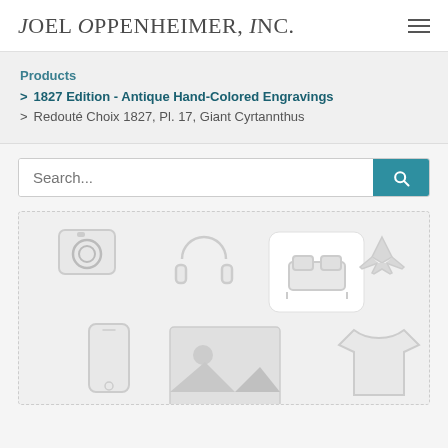Joel Oppenheimer, Inc.
Products
> 1827 Edition - Antique Hand-Colored Engravings
> Redouté Choix 1827, Pl. 17, Giant Cyrtannthus
[Figure (screenshot): Search bar with text input showing 'Search...' placeholder and a teal search button with magnifying glass icon]
[Figure (illustration): Placeholder image area with dashed border containing generic e-commerce category icons: camera, headphones, bed/furniture, airplane, phone, image placeholder, t-shirt]